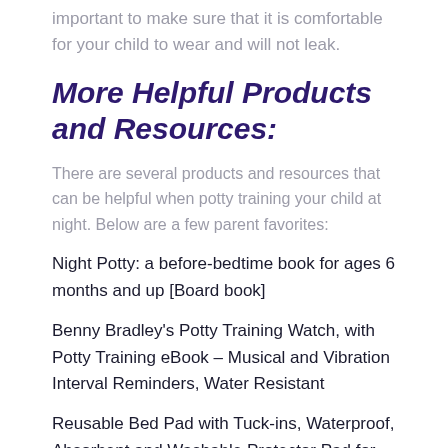important to make sure that it is comfortable for your child to wear and will not leak.
More Helpful Products and Resources:
There are several products and resources that can be helpful when potty training your child at night. Below are a few parent favorites:
Night Potty: a before-bedtime book for ages 6 months and up [Board book]
Benny Bradley's Potty Training Watch, with Potty Training eBook – Musical and Vibration Interval Reminders, Water Resistant
Reusable Bed Pad with Tuck-ins, Waterproof, Absorbent and Washable Protector Pad for Potty Training